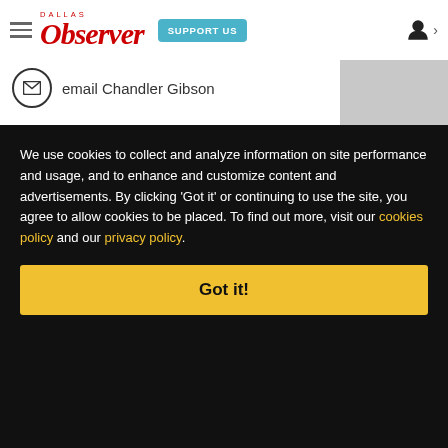Dallas Observer — SUPPORT US
email Chandler Gibson
[Figure (screenshot): Background page with article byline bar and latest articles section, partially obscured by cookie consent overlay]
We use cookies to collect and analyze information on site performance and usage, and to enhance and customize content and advertisements. By clicking 'Got it' or continuing to use the site, you agree to allow cookies to be placed. To find out more, visit our cookies policy and our privacy policy.
Got it!